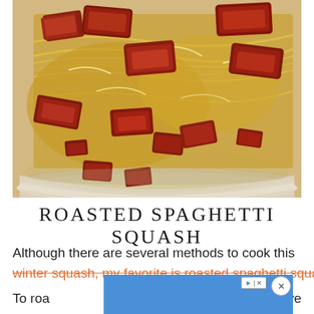[Figure (photo): Close-up photo of roasted spaghetti squash with bacon pieces in a white bowl, showing golden strands and crispy bacon toppings]
ROASTED SPAGHETTI SQUASH
Although there are several methods to cook this winter squash, my favorite is roasted spaghetti squash.
To roa... move
[Figure (screenshot): Blue advertisement overlay banner with close button (X) and ▶|✕ ad controls]